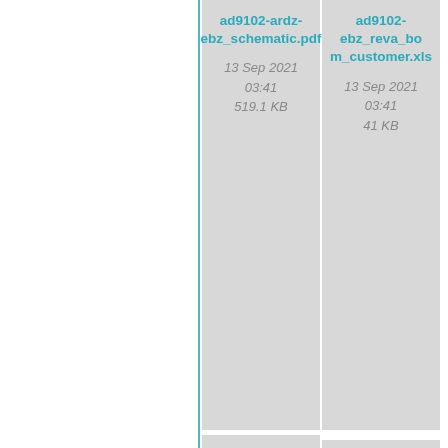[Figure (screenshot): File browser grid showing four PDF/XLS document cards. Top-left: ad9102-ardz-ebz_schematic.pdf, 13 Sep 2021 03:41, 519.1 KB. Top-right: ad9102-ebz_reva_bom_customer.xls, 13 Sep 2021 03:41, 41 KB. Bottom-left: ad9102-ebz_reva_schematic.pdf with PDF icon, 13 Sep 2021 03:41, 413.7 KB. Bottom-right: ad9102_evaluation_board_quick_start_guide.pdf with PDF icon, 13 Sep 2021 03:42. Right sidebar has document, history, link, arrow, and up icons.]